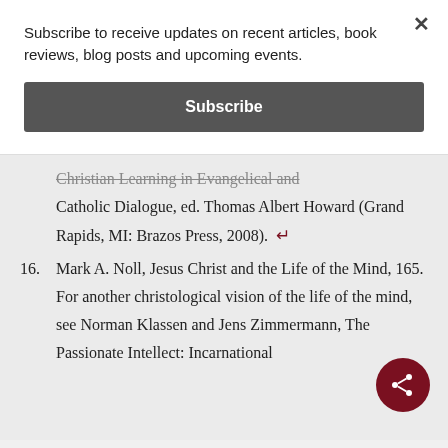Subscribe to receive updates on recent articles, book reviews, blog posts and upcoming events.
Subscribe
Christian Learning in Evangelical and Catholic Dialogue, ed. Thomas Albert Howard (Grand Rapids, MI: Brazos Press, 2008).
16. Mark A. Noll, Jesus Christ and the Life of the Mind, 165. For another christological vision of the life of the mind, see Norman Klassen and Jens Zimmermann, The Passionate Intellect: Incarnational